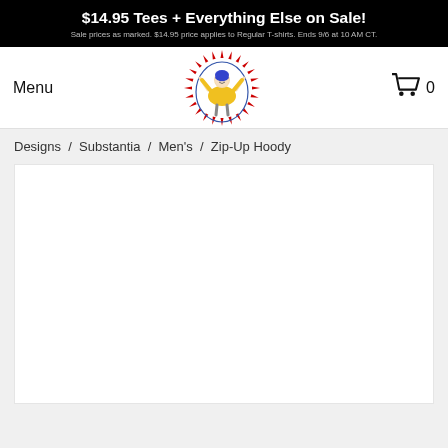$14.95 Tees + Everything Else on Sale! Sale prices as marked. $14.95 price applies to Regular T-shirts. Ends 9/6 at 10 AM CT.
Menu
[Figure (illustration): Cartoon figure of a person with blue hair wearing a yellow jacket, arms raised, surrounded by a red spiky circle, inside a blue oval outline. Threadless logo.]
0
Designs / Substantia / Men's / Zip-Up Hoody